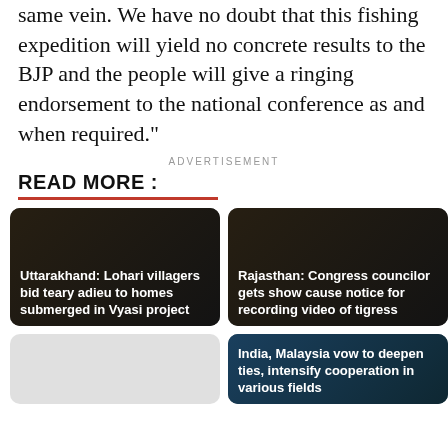same vein. We have no doubt that this fishing expedition will yield no concrete results to the BJP and the people will give a ringing endorsement to the national conference as and when required."
ADVERTISEMENT
READ MORE :
[Figure (photo): Dark photo thumbnail with text: Uttarakhand: Lohari villagers bid teary adieu to homes submerged in Vyasi project]
[Figure (photo): Dark photo thumbnail with text: Rajasthan: Congress councilor gets show cause notice for recording video of tigress]
[Figure (photo): Gray placeholder thumbnail]
[Figure (photo): Gray placeholder thumbnail]
[Figure (photo): Teal photo thumbnail with text: India, Malaysia vow to deepen ties, intensify cooperation in various fields]
[Figure (photo): Gray placeholder thumbnail]